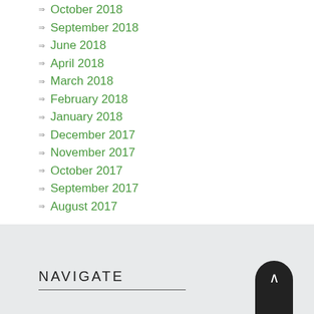October 2018
September 2018
June 2018
April 2018
March 2018
February 2018
January 2018
December 2017
November 2017
October 2017
September 2017
August 2017
NAVIGATE